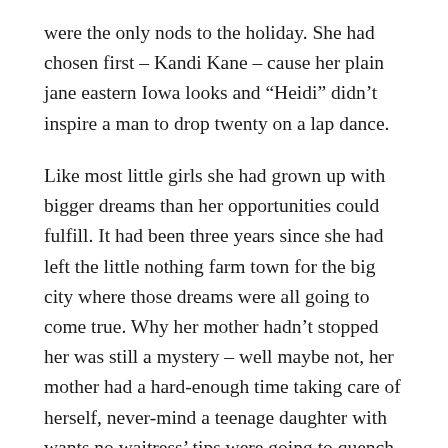were the only nods to the holiday. She had chosen first – Kandi Kane – cause her plain jane eastern Iowa looks and “Heidi” didn’t inspire a man to drop twenty on a lap dance.
Like most little girls she had grown up with bigger dreams than her opportunities could fulfill. It had been three years since she had left the little nothing farm town for the big city where those dreams were all going to come true. Why her mother hadn’t stopped her was still a mystery – well maybe not, her mother had a hard-enough time taking care of herself, never-mind a teenage daughter with wants no waitress’ tips were going to quench. Nigel had seen her coming a mile away, fresh off the bus, small town blues, and nothing but a decent set of tits and legs to